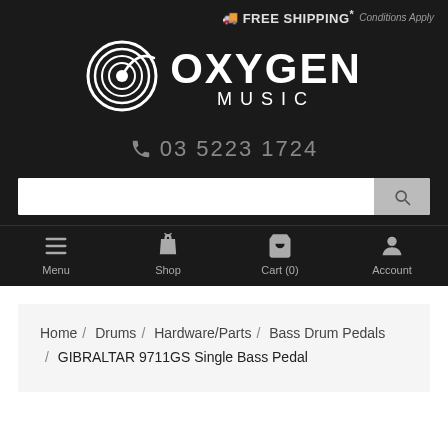FREE SHIPPING* Conditions Apply
[Figure (logo): Oxygen Music logo with circular concentric rings icon and bold OXYGEN MUSIC text]
03 5223 1724
Search bar with search button
Menu  Shop  Cart (0)  Account
Home / Drums / Hardware/Parts / Bass Drum Pedals / GIBRALTAR 9711GS Single Bass Pedal